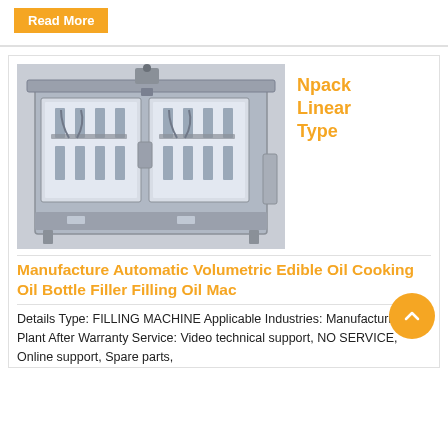Read More
[Figure (photo): Npack Linear Type automatic volumetric edible oil cooking oil bottle filler filling machine — a large stainless steel industrial filling machine with two glass-paneled doors showing internal filling nozzles and mechanisms.]
Npack Linear Type
Manufacture Automatic Volumetric Edible Oil Cooking Oil Bottle Filler Filling Oil Mac
Details Type: FILLING MACHINE Applicable Industries: Manufacturing Plant After Warranty Service: Video technical support, NO SERVICE, Online support, Spare parts,